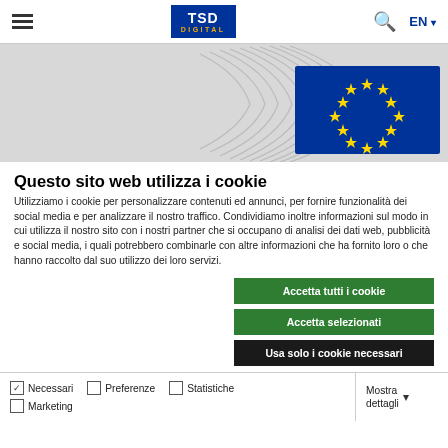TSD DIGITAL — EN
[Figure (photo): European Commission building with EU flag logo (blue background with yellow stars circle), architectural background with curved lines]
Questo sito web utilizza i cookie
Utilizziamo i cookie per personalizzare contenuti ed annunci, per fornire funzionalità dei social media e per analizzare il nostro traffico. Condividiamo inoltre informazioni sul modo in cui utilizza il nostro sito con i nostri partner che si occupano di analisi dei dati web, pubblicità e social media, i quali potrebbero combinarle con altre informazioni che ha fornito loro o che hanno raccolto dal suo utilizzo dei loro servizi.
Accetta tutti i cookie
Accetta selezionati
Usa solo i cookie necessari
Necessari  Preferenze  Statistiche  Marketing  Mostra dettagli